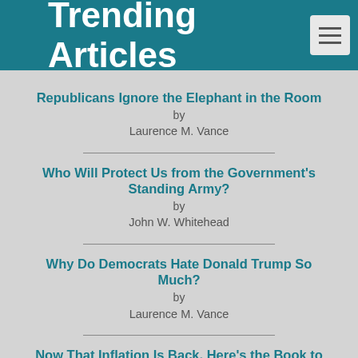Trending Articles
Republicans Ignore the Elephant in the Room
by
Laurence M. Vance
Who Will Protect Us from the Government's Standing Army?
by
John W. Whitehead
Why Do Democrats Hate Donald Trump So Much?
by
Laurence M. Vance
Now That Inflation Is Back, Here's the Book to Read
by